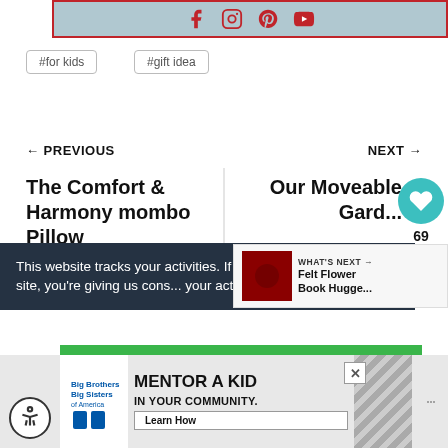[Figure (other): Social media icons bar with Facebook, Instagram, Pinterest, and YouTube icons in red on a steel blue background with red border]
#for kids
#gift idea
← PREVIOUS
NEXT →
The Comfort & Harmony mombo Pillow
Our Moveable Gard...
69
This website tracks your activities. If you continue browsing the site, you're giving us cons... your activity.
WHAT'S NEXT → Felt Flower Book Hugge...
[Figure (infographic): Advertisement banner: Big Brothers Big Sisters - Mentor a Kid in Your Community. Learn How button. Accessibility icon bottom left.]